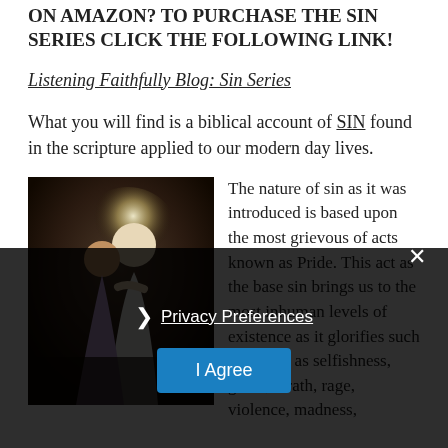ON AMAZON? TO PURCHASE THE SIN SERIES CLICK THE FOLLOWING LINK!
Listening Faithfully Blog: Sin Series
What you will find is a biblical account of SIN found in the scripture applied to our modern day lives.
[Figure (photo): Religious painting showing Jesus with another figure, dark background with halo light]
The nature of sin as it was introduced is based upon the most grievous of acts known as Pride. This act as the base sin brings us to the most inhuman levels of existence as it glorifies such emotions as selfishness, greed, wrath, rage, violence, madness,
Privacy Preferences
I Agree